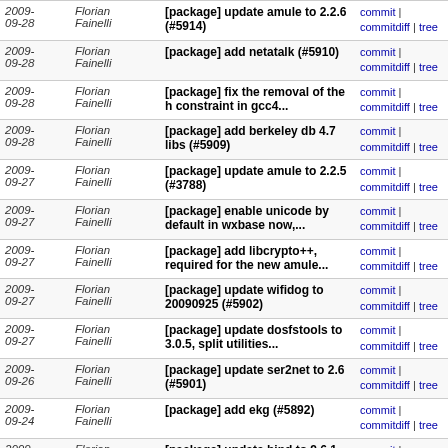| Date | Author | Message | Links |
| --- | --- | --- | --- |
| 2009-09-28 | Florian Fainelli | [package] update amule to 2.2.6 (#5914) | commit | commitdiff | tree |
| 2009-09-28 | Florian Fainelli | [package] add netatalk (#5910) | commit | commitdiff | tree |
| 2009-09-28 | Florian Fainelli | [package] fix the removal of the h constraint in gcc4... | commit | commitdiff | tree |
| 2009-09-28 | Florian Fainelli | [package] add berkeley db 4.7 libs (#5909) | commit | commitdiff | tree |
| 2009-09-27 | Florian Fainelli | [package] update amule to 2.2.5 (#3788) | commit | commitdiff | tree |
| 2009-09-27 | Florian Fainelli | [package] enable unicode by default in wxbase now,... | commit | commitdiff | tree |
| 2009-09-27 | Florian Fainelli | [package] add libcrypto++, required for the new amule... | commit | commitdiff | tree |
| 2009-09-27 | Florian Fainelli | [package] update wifidog to 20090925 (#5902) | commit | commitdiff | tree |
| 2009-09-27 | Florian Fainelli | [package] update dosfstools to 3.0.5, split utilities... | commit | commitdiff | tree |
| 2009-09-26 | Florian Fainelli | [package] update ser2net to 2.6 (#5901) | commit | commitdiff | tree |
| 2009-09-24 | Florian Fainelli | [package] add ekg (#5892) | commit | commitdiff | tree |
| 2009-09-24 | Florian Fainelli | [package] update bind to 9.6.1-P1 (#5888) | commit | commitdiff | tree |
| 2009-09-24 | Florian Fainelli | [package] update libjson-c to 0.9 (#5889) | commit | commitdiff | tree |